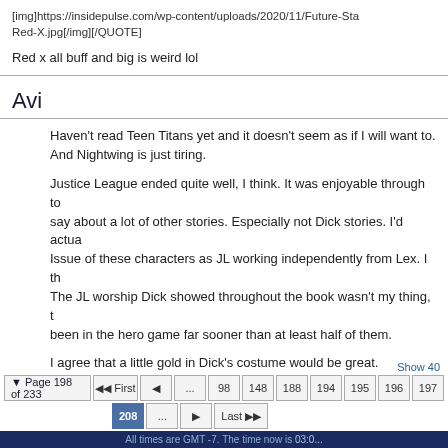[img]https://insidepulse.com/wp-content/uploads/2020/11/Future-Sta Red-X.jpg[/img][/QUOTE]
Red x all buff and big is weird lol
Avi
Haven't read Teen Titans yet and it doesn't seem as if I will want to. And Nightwing is just tiring.

Justice League ended quite well, I think. It was enjoyable through to say about a lot of other stories. Especially not Dick stories. I'd actua Issue of these characters as JL working independently from Lex. I th The JL worship Dick showed throughout the book wasn't my thing, t been in the hero game far sooner than at least half of them.

I agree that a little gold in Dick's costume would be great.
Show 40 | Page 198 of 233 | First | < | ... | 98 | 148 | 188 | 194 | 195 | 196 | 197 | 208 | ... | > | Last | All times are GMT -7. The time now is 03:0...